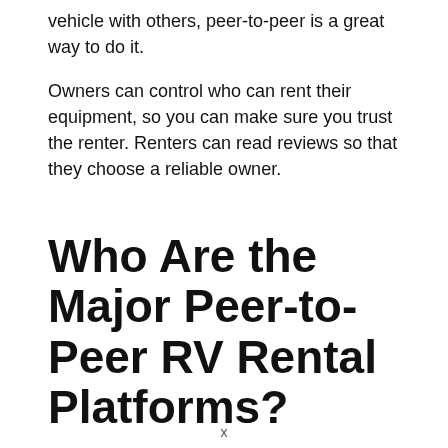vehicle with others, peer-to-peer is a great way to do it.
Owners can control who can rent their equipment, so you can make sure you trust the renter. Renters can read reviews so that they choose a reliable owner.
Who Are the Major Peer-to-Peer RV Rental Platforms?
x